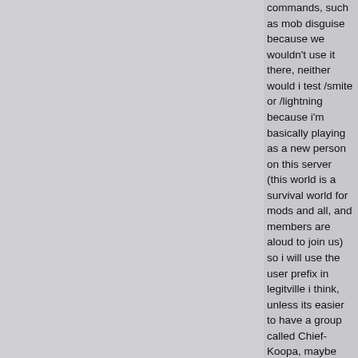commands, such as mob disguise because we wouldn't use it there, neither would i test /smite or /lightning because i'm basically playing as a new person on this server (this world is a survival world for mods and all, and members are aloud to join us) so i will use the user prefix in legitville i think, unless its easier to have a group called Chief-Koopa, maybe you could suggest the easiest thing to do. and ok, i see what i did wrong. i will try again and see if it works now. (VERY